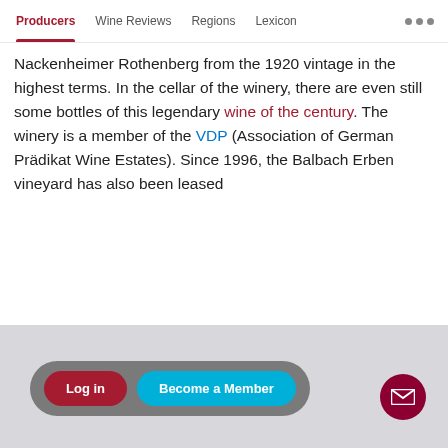Producers | Wine Reviews | Regions | Lexicon
Nackenheimer Rothenberg from the 1920 vintage in the highest terms. In the cellar of the winery, there are even still some bottles of this legendary wine of the century. The winery is a member of the VDP (Association of German Prädikat Wine Estates). Since 1996, the Balbach Erben vineyard has also been leased
Log in | Become a Member